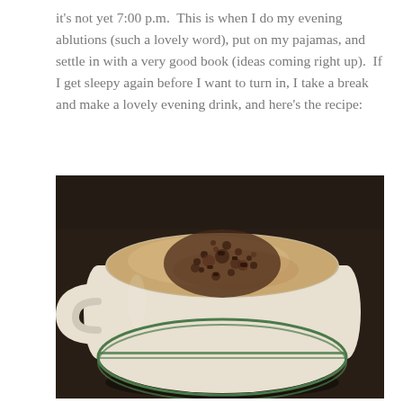it's not yet 7:00 p.m.  This is when I do my evening ablutions (such a lovely word), put on my pajamas, and settle in with a very good book (ideas coming right up).  If I get sleepy again before I want to turn in, I take a break and make a lovely evening drink, and here's the recipe:
[Figure (photo): A white ceramic mug with green stripe accents, filled with a frothy warm drink (latte or hot chocolate) topped with dark cocoa or chocolate powder sprinkled over the foam, sitting on a dark wooden surface.]